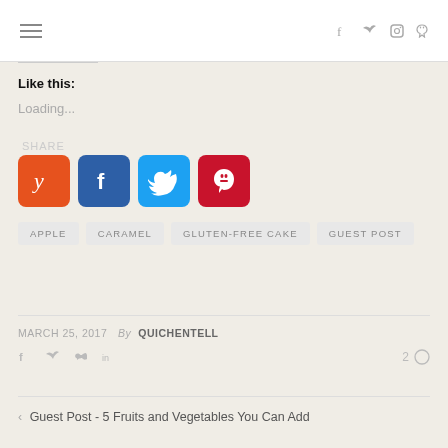☰  f  𝕏  ◻  p
Like this:
Loading...
[Figure (other): Four social share buttons: Yummly (orange), Facebook (blue), Twitter (light blue), Pinterest (red)]
APPLE
CARAMEL
GLUTEN-FREE CAKE
GUEST POST
MARCH 25, 2017  By QUICHENTELL
f  𝕏  p  in   2 ◯
‹ Guest Post - 5 Fruits and Vegetables You Can Add